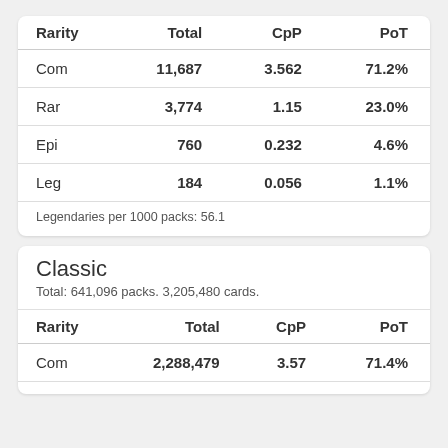| Rarity | Total | CpP | PoT |
| --- | --- | --- | --- |
| Com | 11,687 | 3.562 | 71.2% |
| Rar | 3,774 | 1.15 | 23.0% |
| Epi | 760 | 0.232 | 4.6% |
| Leg | 184 | 0.056 | 1.1% |
Legendaries per 1000 packs: 56.1
Classic
Total: 641,096 packs. 3,205,480 cards.
| Rarity | Total | CpP | PoT |
| --- | --- | --- | --- |
| Com | 2,288,479 | 3.57 | 71.4% |